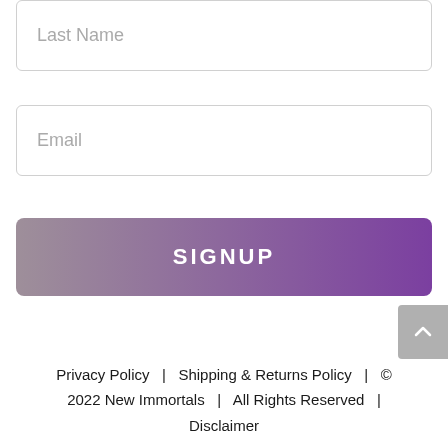Last Name
Email
SIGNUP
Privacy Policy  |  Shipping & Returns Policy  |  © 2022 New Immortals  |  All Rights Reserved  |  Disclaimer